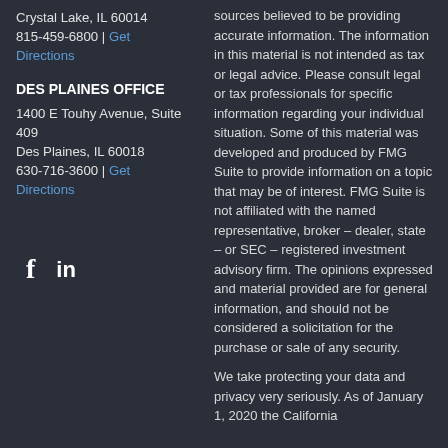Crystal Lake, IL 60014
815-459-6800 | Get Directions
DES PLAINES OFFICE
1400 E Touhy Avenue, Suite 409
Des Plaines, IL 60018
630-716-3600 | Get Directions
[Figure (illustration): Social media icons: Facebook (f) and LinkedIn (in)]
sources believed to be providing accurate information. The information in this material is not intended as tax or legal advice. Please consult legal or tax professionals for specific information regarding your individual situation. Some of this material was developed and produced by FMG Suite to provide information on a topic that may be of interest. FMG Suite is not affiliated with the named representative, broker – dealer, state – or SEC – registered investment advisory firm. The opinions expressed and material provided are for general information, and should not be considered a solicitation for the purchase or sale of any security.
We take protecting your data and privacy very seriously. As of January 1, 2020 the California